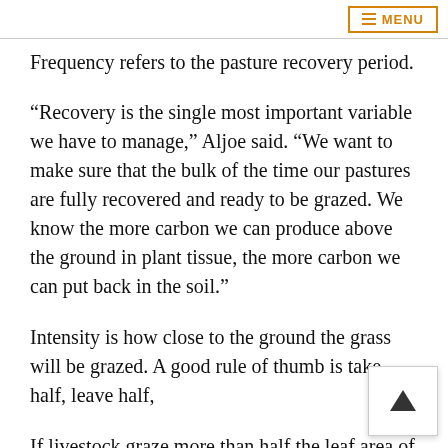MENU
Frequency refers to the pasture recovery period.
“Recovery is the single most important variable we have to manage,” Aljoe said. “We want to make sure that the bulk of the time our pastures are fully recovered and ready to be grazed. We know the more carbon we can produce above the ground in plant tissue, the more carbon we can put back in the soil.”
Intensity is how close to the ground the grass will be grazed. A good rule of thumb is take half, leave half.
If livestock graze more than half the leaf area of the